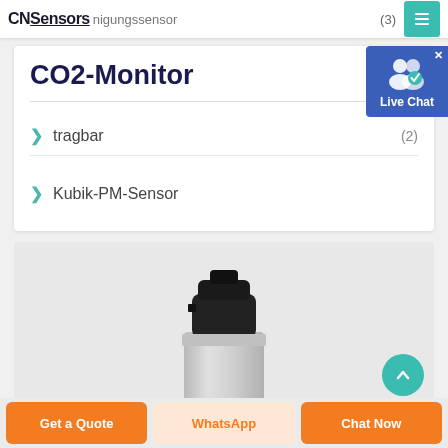CNSensors | …nigungssensor | (3)
CO2-Monitor
> tragbar (2)
> Kubik-PM-Sensor
[Figure (photo): Pressure/CO2 sensor device with black cylindrical top and metallic body, shown on grey background]
Get a Quote | WhatsApp | Chat Now